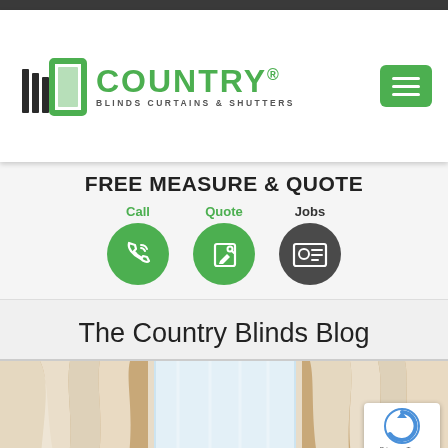[Figure (logo): Country Blinds Curtains & Shutters logo with green building/blind icon and green COUNTRY text]
FREE MEASURE & QUOTE
Call  Quote  Jobs (action buttons with phone, quote form, and jobs icons)
The Country Blinds Blog
[Figure (photo): Interior room photo showing sheer white curtains and blinds on windows]